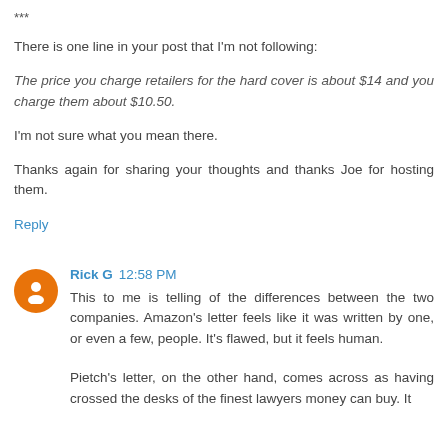***
There is one line in your post that I'm not following:
The price you charge retailers for the hard cover is about $14 and you charge them about $10.50.
I'm not sure what you mean there.
Thanks again for sharing your thoughts and thanks Joe for hosting them.
Reply
Rick G 12:58 PM
This to me is telling of the differences between the two companies. Amazon's letter feels like it was written by one, or even a few, people. It's flawed, but it feels human.
Pietch's letter, on the other hand, comes across as having crossed the desks of the finest lawyers money can buy. It